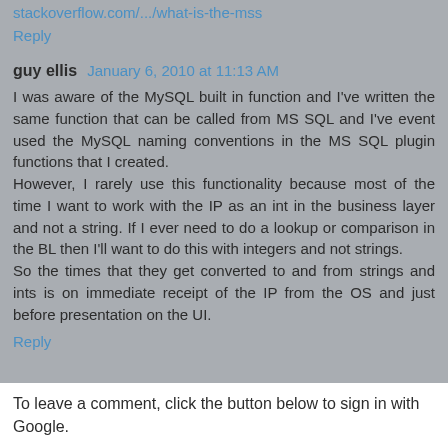stackoverflow.com/.../what-is-the-mss
Reply
guy ellis  January 6, 2010 at 11:13 AM
I was aware of the MySQL built in function and I've written the same function that can be called from MS SQL and I've event used the MySQL naming conventions in the MS SQL plugin functions that I created.
However, I rarely use this functionality because most of the time I want to work with the IP as an int in the business layer and not a string. If I ever need to do a lookup or comparison in the BL then I'll want to do this with integers and not strings.
So the times that they get converted to and from strings and ints is on immediate receipt of the IP from the OS and just before presentation on the UI.
Reply
To leave a comment, click the button below to sign in with Google.